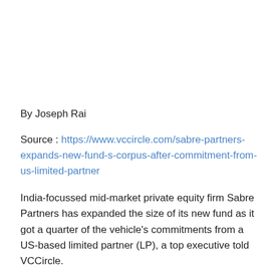By Joseph Rai
Source : https://www.vccircle.com/sabre-partners-expands-new-fund-s-corpus-after-commitment-from-us-limited-partner
India-focussed mid-market private equity firm Sabre Partners has expanded the size of its new fund as it got a quarter of the vehicle's commitments from a US-based limited partner (LP), a top executive told VCCircle.
Rajiv Maliwal, founder and managing director of Sabre